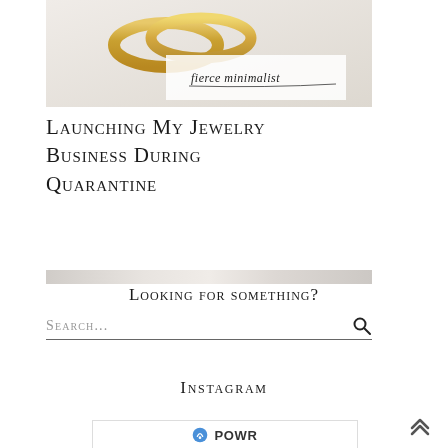[Figure (photo): Top portion of a jewelry/rings photo with 'fierce minimalist' script text overlay, showing gold rings on white background]
Launching My Jewelry Business During Quarantine
[Figure (photo): A thin horizontal strip image, marble or light gray surface texture]
Looking for something?
Search...
Instagram
[Figure (logo): POWR logo with circular icon and bold POWR text]